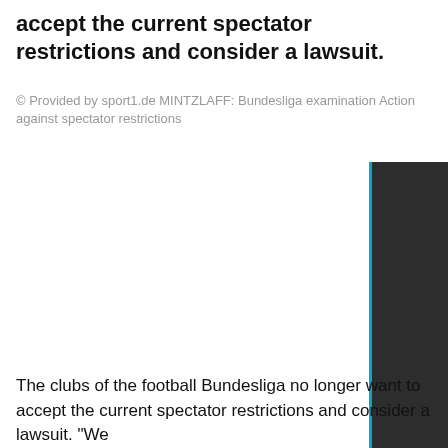accept the current spectator restrictions and consider a lawsuit.
© Provided by sport1.de MINTZLAFF: Bundesliga examination Action against spectator restrictions
[Figure (photo): Dark rectangular image (partially visible, cropped at right edge) with cyan/blue left border, appears to be a sports or news article image.]
The clubs of the football Bundesliga no longer want to accept the current spectator restrictions and consider a lawsuit. "We